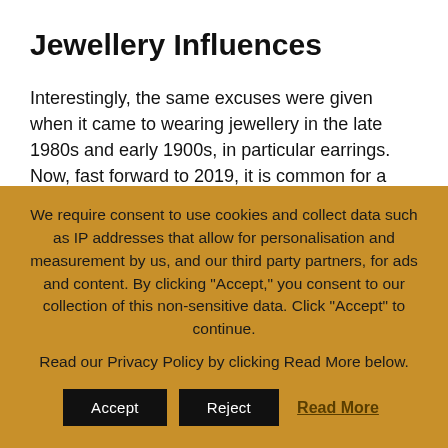Jewellery Influences
Interestingly, the same excuses were given when it came to wearing jewellery in the late 1980s and early 1900s, in particular earrings. Now, fast forward to 2019, it is common for a man to wear earrings. Guys are even rocking nose and lip piercings now, without anyone batting an eyelid. Now guys have a wide range of products to pick from: facial creams, body washes, and
We require consent to use cookies and collect data such as IP addresses that allow for personalisation and measurement by us, and our third party partners, for ads and content. By clicking "Accept," you consent to our collection of this non-sensitive data. Click "Accept" to continue.
Read our Privacy Policy by clicking Read More below.